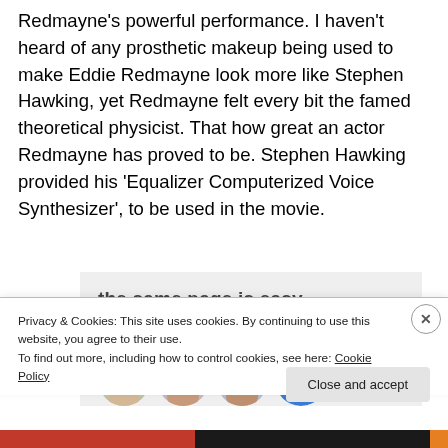Redmayne's powerful performance. I haven't heard of any prosthetic makeup being used to make Eddie Redmayne look more like Stephen Hawking, yet Redmayne felt every bit the famed theoretical physicist. That how great an actor Redmayne has proved to be. Stephen Hawking provided his 'Equalizer Computerized Voice Synthesizer', to be used in the movie.
[Figure (screenshot): Advertisement banner with text 'the same page is easy. And free.' on a light grey background, with circular avatar photos below.]
Privacy & Cookies: This site uses cookies. By continuing to use this website, you agree to their use.
To find out more, including how to control cookies, see here: Cookie Policy
Close and accept